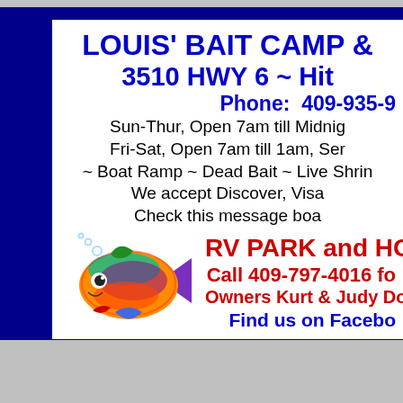LOUIS' BAIT CAMP &
3510 HWY 6 ~ Hit
Phone: 409-935-9
Sun-Thur, Open 7am till Midnig
Fri-Sat, Open 7am till 1am, Ser
~ Boat Ramp ~ Dead Bait ~ Live Shrin
We accept Discover, Visa
Check this message boa
[Figure (illustration): Colorful cartoon fish with rainbow colors, bubbles, and a smiling face]
RV PARK and HOTEL
Call 409-797-4016 fo
Owners Kurt & Judy Dohma
Find us on Facebo
[Figure (photo): Photo of a person with curly hair]
PREPARATION IS